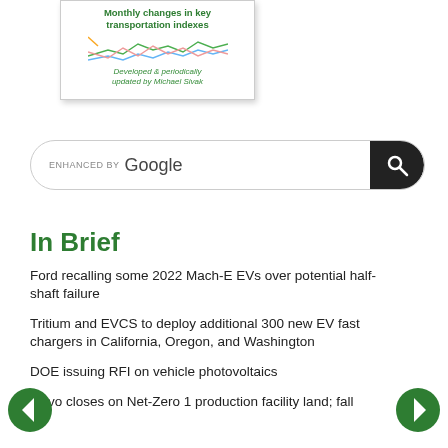[Figure (illustration): Thumbnail image showing a white box with green bold text 'Monthly changes in key transportation indexes' and italic green text 'Developed & periodically updated by Michael Sivak', with colored line chart lines visible inside]
[Figure (screenshot): Google enhanced search bar with magnifying glass button on the right]
In Brief
Ford recalling some 2022 Mach-E EVs over potential half-shaft failure
Tritium and EVCS to deploy additional 300 new EV fast chargers in California, Oregon, and Washington
DOE issuing RFI on vehicle photovoltaics
Gevo closes on Net-Zero 1 production facility land; fall